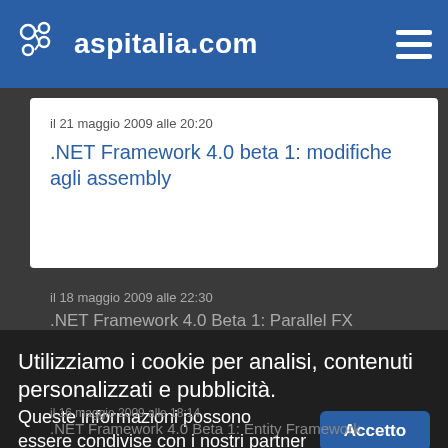aspitalia.com
il 21 maggio 2009 alle 20:20
.NET Framework 4.0 beta 1: modifiche agli assembly
il 18 maggio 2009 alle 22:30
.NET Framework 4.0 Beta 1: Parallel FX
Utilizziamo i cookie per analisi, contenuti personalizzati e pubblicità.
Queste informazioni possono essere condivise con i nostri partner per fornire i servizi necessari.
Accetto
Rifiuto
il 16 maggio 2009 alle 18:14
.NET Framework 4.0 Beta 1: Entity Framework
Approfondisci